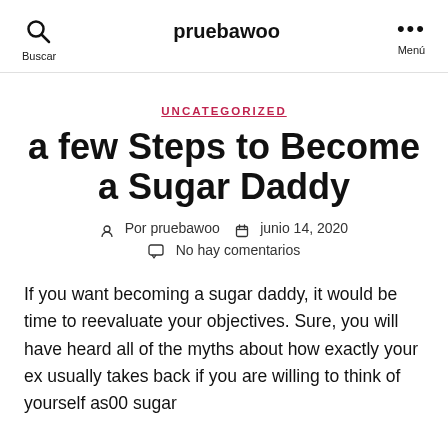pruebawoo
UNCATEGORIZED
a few Steps to Become a Sugar Daddy
Por pruebawoo   junio 14, 2020
No hay comentarios
If you want becoming a sugar daddy, it would be time to reevaluate your objectives. Sure, you will have heard all of the myths about how exactly your ex usually takes back if you are willing to think of yourself as00 sugar